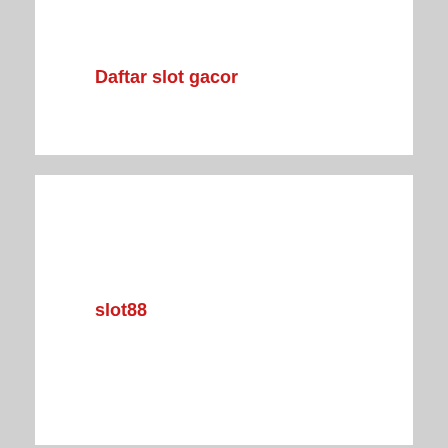Daftar slot gacor
slot88
situs slot online indonesia
toto macau